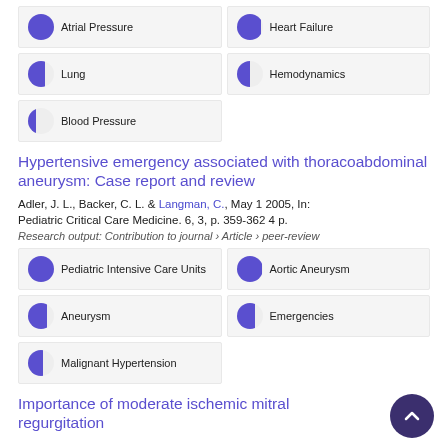Atrial Pressure
Heart Failure
Lung
Hemodynamics
Blood Pressure
Hypertensive emergency associated with thoracoabdominal aneurysm: Case report and review
Adler, J. L., Backer, C. L. & Langman, C., May 1 2005, In: Pediatric Critical Care Medicine. 6, 3, p. 359-362 4 p.
Research output: Contribution to journal › Article › peer-review
Pediatric Intensive Care Units
Aortic Aneurysm
Aneurysm
Emergencies
Malignant Hypertension
Importance of moderate ischemic mitral regurgitation